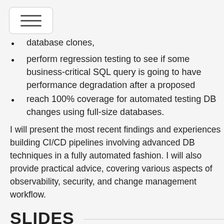[hamburger menu icon]
database clones,
perform regression testing to see if some business-critical SQL query is going to have performance degradation after a proposed
reach 100% coverage for automated testing DB changes using full-size databases.
I will present the most recent findings and experiences building CI/CD pipelines involving advanced DB techniques in a fully automated fashion. I will also provide practical advice, covering various aspects of observability, security, and change management workflow.
SLIDES
The following slides have been made available for this session: